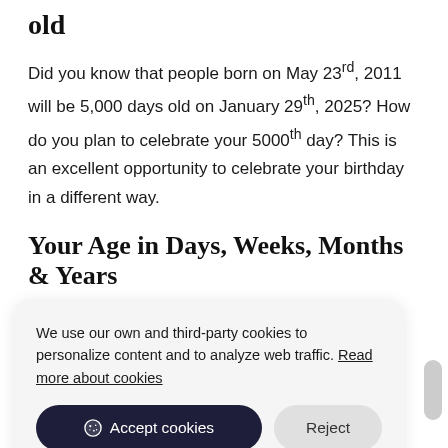old
Did you know that people born on May 23rd, 2011 will be 5,000 days old on January 29th, 2025? How do you plan to celebrate your 5000th day? This is an excellent opportunity to celebrate your birthday in a different way.
Your Age in Days, Weeks, Months & Years
We use our own and third-party cookies to personalize content and to analyze web traffic. Read more about cookies
Accept cookies   Reject